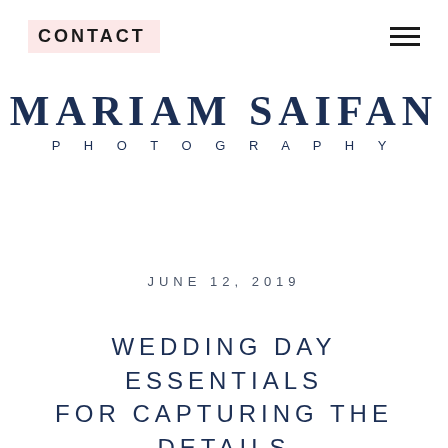CONTACT
MARIAM SAIFAN PHOTOGRAPHY
JUNE 12, 2019
WEDDING DAY ESSENTIALS FOR CAPTURING THE DETAILS